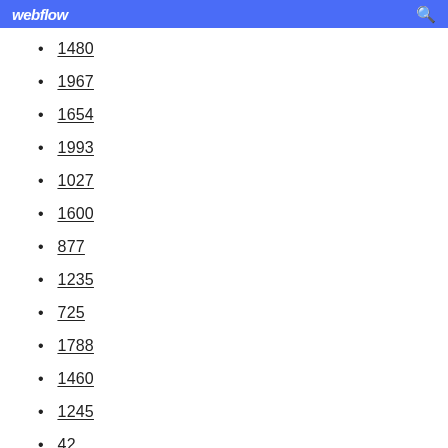webflow
1480
1967
1654
1993
1027
1600
877
1235
725
1788
1460
1245
42